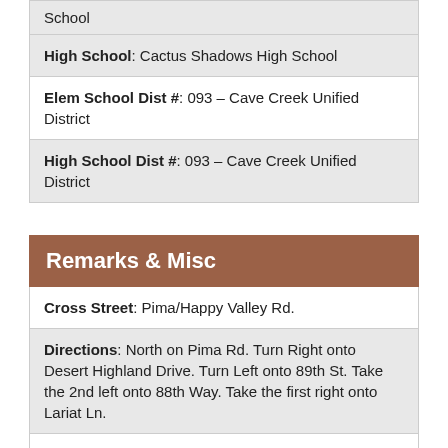| High School: Cactus Shadows High School |
| Elem School Dist #: 093 - Cave Creek Unified District |
| High School Dist #: 093 - Cave Creek Unified District |
| Remarks & Misc |
| --- |
| Cross Street: Pima/Happy Valley Rd. |
| Directions: North on Pima Rd. Turn Right onto Desert Highland Drive. Turn Left onto 89th St. Take the 2nd left onto 88th Way. Take the first right onto Lariat Ln. |
| Geo Lat: 33.724211 |
| Geo Lon: -111.889941 |